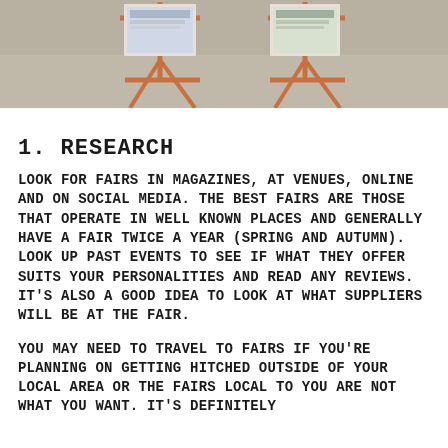[Figure (photo): Photo of a wedding or craft fair display with two copper/wooden magazine/brochure stands on a concrete floor, viewed from above at an angle, with printed materials on the stands.]
1. RESEARCH
LOOK FOR FAIRS IN MAGAZINES, AT VENUES, ONLINE AND ON SOCIAL MEDIA. THE BEST FAIRS ARE THOSE THAT OPERATE IN WELL KNOWN PLACES AND GENERALLY HAVE A FAIR TWICE A YEAR (SPRING AND AUTUMN). LOOK UP PAST EVENTS TO SEE IF WHAT THEY OFFER SUITS YOUR PERSONALITIES AND READ ANY REVIEWS. IT'S ALSO A GOOD IDEA TO LOOK AT WHAT SUPPLIERS WILL BE AT THE FAIR.
YOU MAY NEED TO TRAVEL TO FAIRS IF YOU'RE PLANNING ON GETTING HITCHED OUTSIDE OF YOUR LOCAL AREA OR THE FAIRS LOCAL TO YOU ARE NOT WHAT YOU WANT. IT'S DEFINITELY